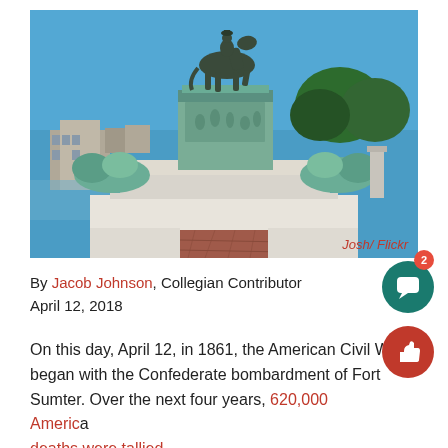[Figure (photo): Bronze equestrian military statue on a large pedestal with reclining bronze figures on the sides, set against a blue sky with trees and buildings in the background. Red brick pathway leads to the monument base.]
Josh/ Flickr
By Jacob Johnson, Collegian Contributor
April 12, 2018
On this day, April 12, in 1861, the American Civil War began with the Confederate bombardment of Fort Sumter. Over the next four years, 620,000 American deaths were tallied.